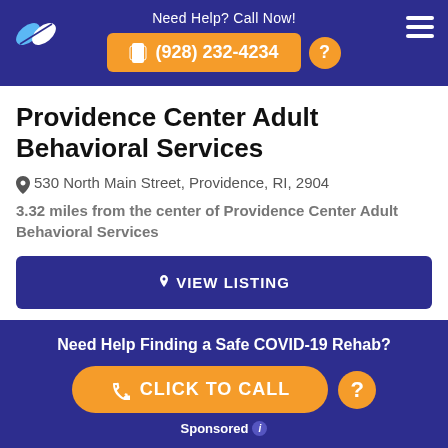Need Help? Call Now! (928) 232-4234
Providence Center Adult Behavioral Services
530 North Main Street, Providence, RI, 2904
3.32 miles from the center of Providence Center Adult Behavioral Services
VIEW LISTING
Providence Center Roads to
Need Help Finding a Safe COVID-19 Rehab? CLICK TO CALL Sponsored